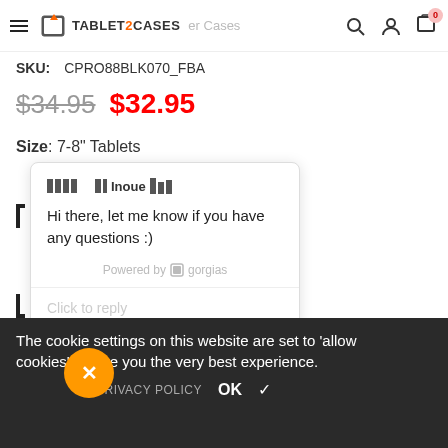TABLET2CASES
SKU: CPRO88BLK070_FBA
$34.95  $32.95
Size: 7-8" Tablets
[Figure (screenshot): Chat popup widget showing agent 'Inoue' with message: Hi there, let me know if you have any questions :). Powered by gorgias. Click to reply text box.]
The cookie settings on this website are set to 'allow cookies' to give you the very best experience.
PRIVACY POLICY  OK ✓